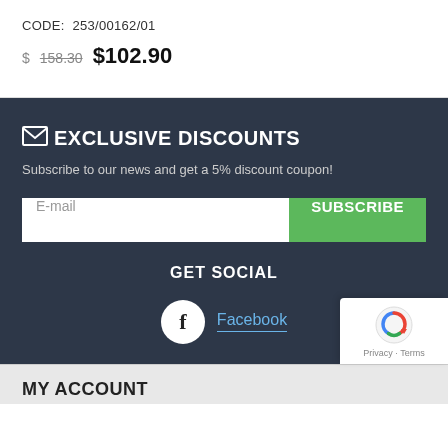CODE: 253/00162/01
$ 158.30  $102.90
EXCLUSIVE DISCOUNTS
Subscribe to our news and get a 5% discount coupon!
E-mail  SUBSCRIBE
GET SOCIAL
Facebook
MY ACCOUNT